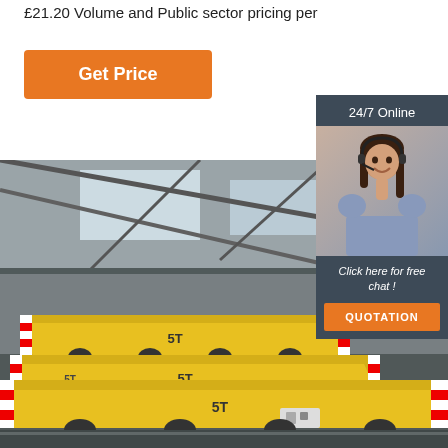£21.20 Volume and Public sector pricing per
Get Price
24/7 Online
[Figure (photo): Woman with headset smiling, customer service representative]
Click here for free chat !
QUOTATION
[Figure (photo): Industrial warehouse interior with yellow 5T transfer carts on rails]